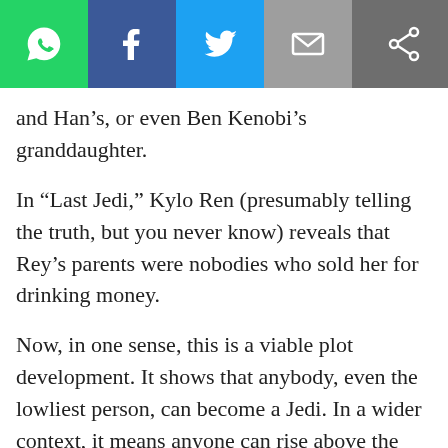[Figure (other): Social share bar with WhatsApp, Facebook, Twitter, Email, and general share buttons]
and Han’s, or even Ben Kenobi’s granddaughter.
In “Last Jedi,” Kylo Ren (presumably telling the truth, but you never know) reveals that Rey’s parents were nobodies who sold her for drinking money.
Now, in one sense, this is a viable plot development. It shows that anybody, even the lowliest person, can become a Jedi. In a wider context, it means anyone can rise above the situation they were born into to develop greatness. That’s a good message to deliver. But in this case, it’s not really consistent with what came before.
“The Force Awakens” never stated, but surely implied that Rey belonged to one of the story’s primary families. Rian Johnson is saïd that he changed this s…